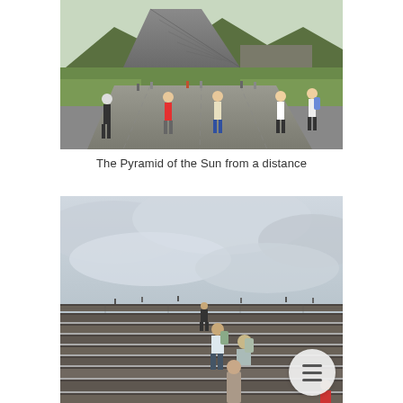[Figure (photo): Photo of the Pyramid of the Sun at Teotihuacan seen from a distance, with tourists walking on a wide paved path in the foreground and lush green grass to the sides. Mountains are visible in the background.]
The Pyramid of the Sun from a distance
[Figure (photo): Photo of people climbing the steep stone steps of the Pyramid of the Sun at Teotihuacan. An overcast cloudy sky fills the upper portion of the image. Tourists are visible ascending and descending the ancient stone stairway.]